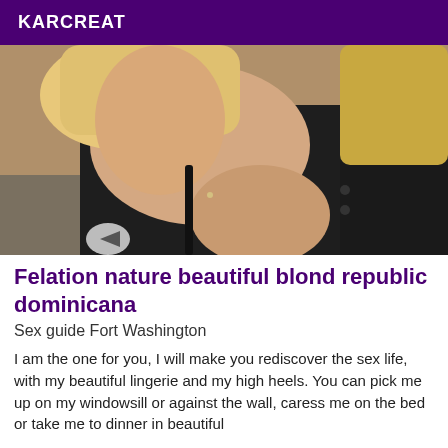KARCREAT
[Figure (photo): A blonde woman in a black tank top and dark shorts, reclining, photographed from above.]
Felation nature beautiful blond republic dominicana
Sex guide Fort Washington
I am the one for you, I will make you rediscover the sex life, with my beautiful lingerie and my high heels. You can pick me up on my windowsill or against the wall, caress me on the bed or take me to dinner in beautiful